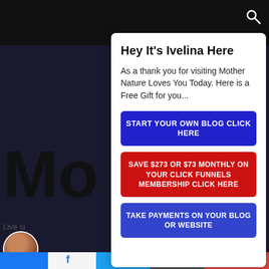[Figure (screenshot): Dark website background with large letter M and partial website content visible behind a popup modal]
Hey It's Ivelina Here
As a thank you for visiting Mother Nature Loves You Today.  Here is a Free Gift for you...
START YOUR OWN BLOG CLICK HERE
SAVE $273 OR $73 MONTHLY ON YOUR CLICK FUNNELS MEMBERSHIP CLICK HERE
TAKE PAYMENTS ON YOUR BLOG OR WEBSITE